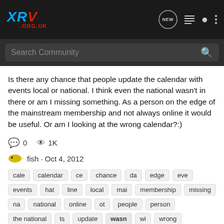XRV .ORG.UK
Search Community
Is there any chance that people update the calendar with events local or national. I think even the national wasn't in there or am I missing something. As a person on the edge of the mainstream membership and not always online it would be useful. Or am I looking at the wrong calendar?:)
0   1K
fish · Oct 4, 2012
cale  calendar  ce  chance  da  edge  eve  events  hat  line  local  mai  membership  missing  na  national  online  ot  people  person  the national  ts  update  wasn  wi  wrong
transalp 600